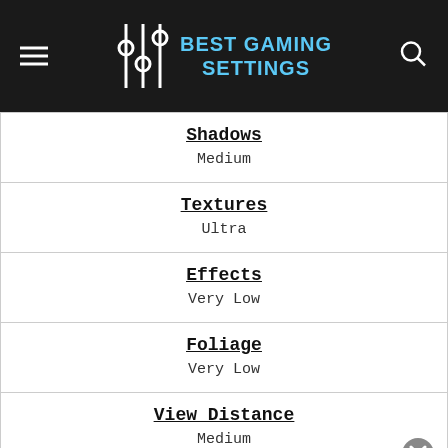BEST GAMING SETTINGS
| Setting | Value |
| --- | --- |
| Shadows | Medium |
| Textures | Ultra |
| Effects | Very Low |
| Foliage | Very Low |
| View Distance | Medium |
| V-Sync |  |